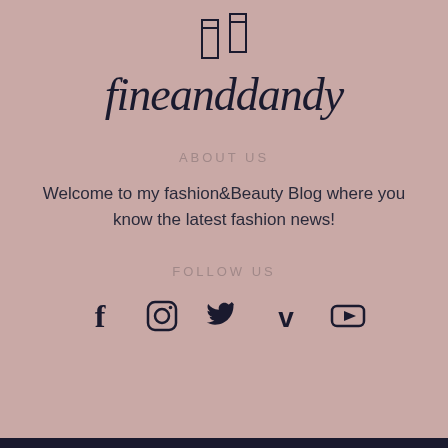[Figure (logo): Two lipstick tube outlines drawn with thin dark lines, side by side, above the brand name fineanddandy]
fineanddandy
ABOUT US
Welcome to my fashion&Beauty Blog where you know the latest fashion news!
FOLLOW US
[Figure (infographic): Five social media icons in a row: Facebook (f), Instagram (camera square), Twitter (bird), Vimeo (V), YouTube (play button)]